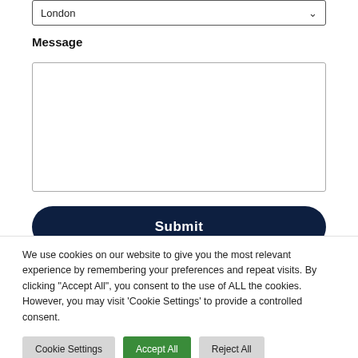[Figure (screenshot): Dropdown select field showing 'London' with a chevron arrow on the right]
Message
[Figure (screenshot): Empty textarea input field for message]
[Figure (screenshot): Dark navy blue Submit button with rounded corners]
We use cookies on our website to give you the most relevant experience by remembering your preferences and repeat visits. By clicking "Accept All", you consent to the use of ALL the cookies. However, you may visit 'Cookie Settings' to provide a controlled consent.
Cookie Settings
Accept All
Reject All